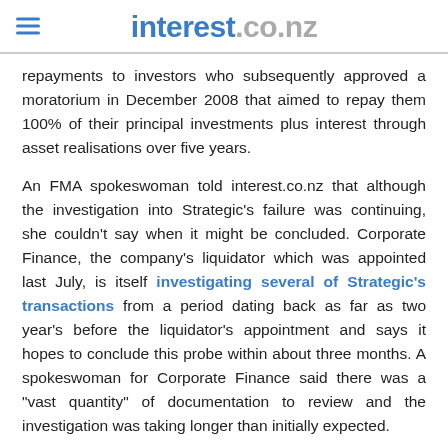interest.co.nz
repayments to investors who subsequently approved a moratorium in December 2008 that aimed to repay them 100% of their principal investments plus interest through asset realisations over five years.
An FMA spokeswoman told interest.co.nz that although the investigation into Strategic's failure was continuing, she couldn't say when it might be concluded. Corporate Finance, the company's liquidator which was appointed last July, is itself investigating several of Strategic's transactions from a period dating back as far as two year's before the liquidator's appointment and says it hopes to conclude this probe within about three months. A spokeswoman for Corporate Finance said there was a "vast quantity" of documentation to review and the investigation was taking longer than initially expected.